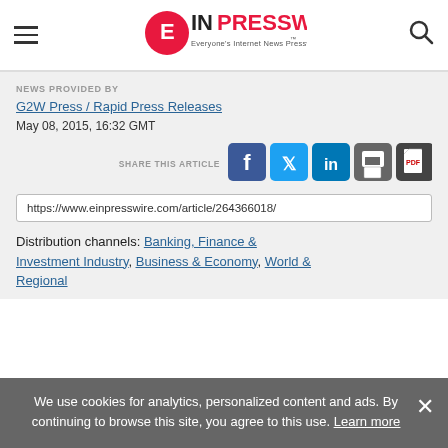EIN Presswire — Everyone's Internet News Presswire
NEWS PROVIDED BY
G2W Press / Rapid Press Releases
May 08, 2015, 16:32 GMT
SHARE THIS ARTICLE
https://www.einpresswire.com/article/264366018/
Distribution channels: Banking, Finance & Investment Industry, Business & Economy, World & Regional
We use cookies for analytics, personalized content and ads. By continuing to browse this site, you agree to this use. Learn more